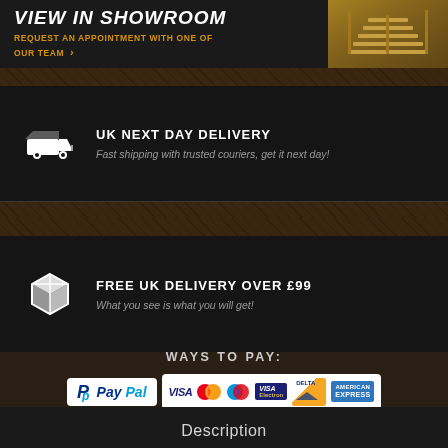VIEW IN SHOWROOM
REQUEST AN APPOINTMENT WITH ONE OF OUR TEAM ›
UK NEXT DAY DELIVERY
Fast shipping with trusted couriers, get it next day!
FREE UK DELIVERY OVER £99
What you see is what you will get!
WAYS TO PAY:
[Figure (logo): PayPal logo and payment card logos: VISA, MasterCard, Maestro, VISA Electron, Delta, American Express]
Description